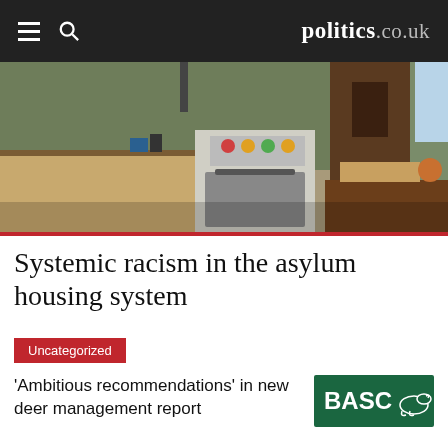politics.co.uk
[Figure (photo): Interior of a run-down kitchen with old gas stove, worn countertops and green-painted walls]
Systemic racism in the asylum housing system
Uncategorized
‘Ambitious recommendations’ in new deer management report
[Figure (logo): BASC logo - green background with white text and duck silhouette]
Uncategorized
Raptor persecution must stop now, says
[Figure (logo): BASC logo - partially visible]